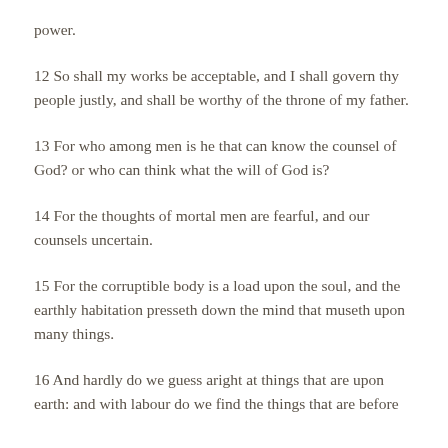power.
12 So shall my works be acceptable, and I shall govern thy people justly, and shall be worthy of the throne of my father.
13 For who among men is he that can know the counsel of God? or who can think what the will of God is?
14 For the thoughts of mortal men are fearful, and our counsels uncertain.
15 For the corruptible body is a load upon the soul, and the earthly habitation presseth down the mind that museth upon many things.
16 And hardly do we guess aright at things that are upon earth: and with labour do we find the things that are before